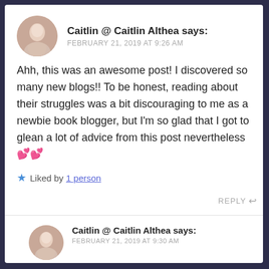[Figure (photo): Round avatar photo of a person in a light-colored dress]
Caitlin @ Caitlin Althea says:
FEBRUARY 21, 2019 AT 9:26 AM
Ahh, this was an awesome post! I discovered so many new blogs!! To be honest, reading about their struggles was a bit discouraging to me as a newbie book blogger, but I'm so glad that I got to glean a lot of advice from this post nevertheless 💕💕
★ Liked by 1 person
REPLY ↩
[Figure (photo): Round avatar photo of a person in a light-colored dress (smaller)]
Caitlin @ Caitlin Althea says:
FEBRUARY 21, 2019 AT 9:30 AM